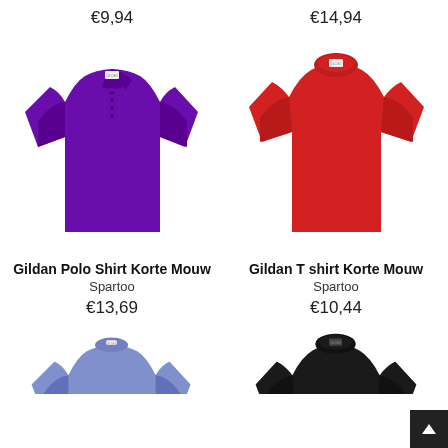€9,94
[Figure (photo): Purple Gildan polo shirt with short sleeves and collar]
Gildan Polo Shirt Korte Mouw
Spartoo
€13,69
€14,94
[Figure (photo): Red Gildan t-shirt with short sleeves and round neck]
Gildan T shirt Korte Mouw
Spartoo
€10,44
[Figure (photo): Light blue/purple Gildan t-shirt, partially visible at bottom]
[Figure (photo): Black Gildan t-shirt, partially visible at bottom]